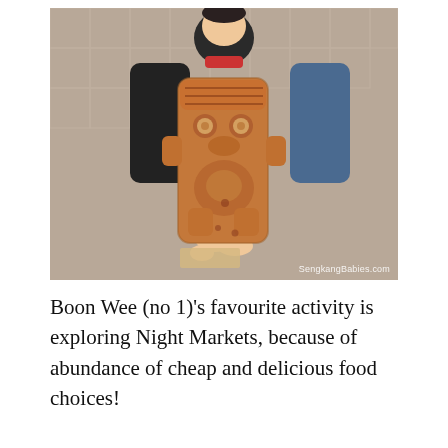[Figure (photo): A child holding up a brown cookie/waffle shaped like a cartoon character (resembling SpongeBob or similar), photographed outdoors on a tiled background. Watermark reads SengkangBabies.com]
Boon Wee (no 1)'s favourite activity is exploring Night Markets, because of abundance of cheap and delicious food choices!